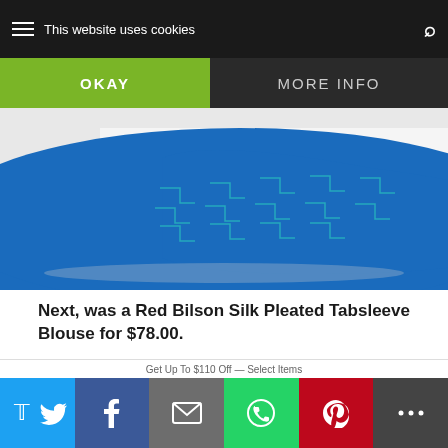This website uses cookies
[Figure (photo): Partial view of a blue patterned silk blouse with geometric design, folded on a white surface with a small gold button visible]
Next, was a Red Bilson Silk Pleated Tabsleeve Blouse for $78.00.
also liked this blouse but thought it was a little on the pricey side. Plus, it was a tad too tight through the chest. It pulled ever so slightly at the pleats.